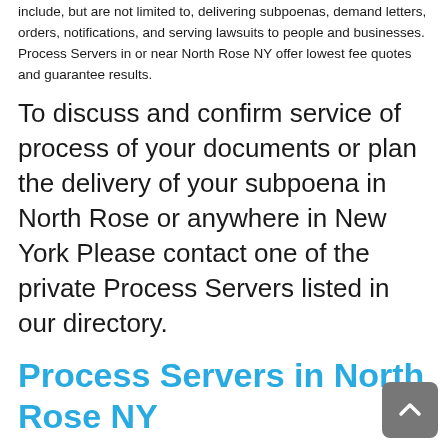include, but are not limited to, delivering subpoenas, demand letters, orders, notifications, and serving lawsuits to people and businesses. Process Servers in or near North Rose NY offer lowest fee quotes and guarantee results.
To discuss and confirm service of process of your documents or plan the delivery of your subpoena in North Rose or anywhere in New York Please contact one of the private Process Servers listed in our directory.
Process Servers in North Rose NY
All listed Process Servers are experienced with all types of process serving services in and near North Rose. Legal document and subpoena delivery services are guaranteed to be on time anywhere in Wayne County, New York.